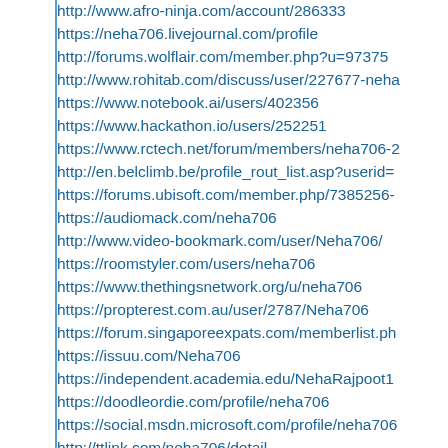http://www.afro-ninja.com/account/286333
https://neha706.livejournal.com/profile
http://forums.wolflair.com/member.php?u=97375
http://www.rohitab.com/discuss/user/227677-neha...
https://www.notebook.ai/users/402356
https://www.hackathon.io/users/252251
https://www.rctech.net/forum/members/neha706-2...
http://en.belclimb.be/profile_rout_list.asp?userid=...
https://forums.ubisoft.com/member.php/7385256-...
https://audiomack.com/neha706
http://www.video-bookmark.com/user/Neha706/
https://roomstyler.com/users/neha706
https://www.thethingsnetwork.org/u/neha706
https://propterest.com.au/user/2787/Neha706
https://forum.singaporeexpats.com/memberlist.ph...
https://issuu.com/Neha706
https://independent.academia.edu/NehaRajpoot1...
https://doodleordie.com/profile/neha706
https://social.msdn.microsoft.com/profile/neha706...
http://ttlink.com/neha706/detail
https://my.archdaily.com/us/@neha706rajpoot
https://www.goodreads.com/user/show/14648500...
https://www.indiegogo.com/individuals/28448902...
https://www.awwwards.com/Neha706/favorites
http://atlas.dustforce.com/user/Neha706
https://disqus.com/by/disqus_r0iPWhe7Ce/about...